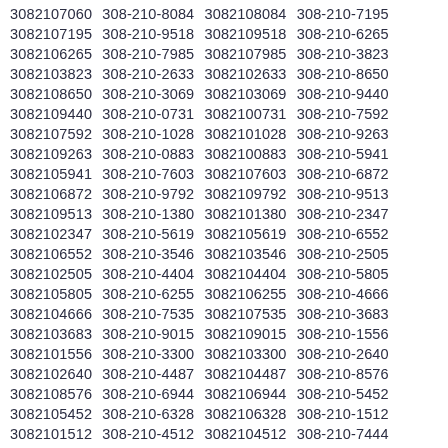3082107060 308-210-8084 3082108084 308-210-7195 3082107195 308-210-9518 3082109518 308-210-6265 3082106265 308-210-7985 3082107985 308-210-3823 3082103823 308-210-2633 3082102633 308-210-8650 3082108650 308-210-3069 3082103069 308-210-9440 3082109440 308-210-0731 3082100731 308-210-7592 3082107592 308-210-1028 3082101028 308-210-9263 3082109263 308-210-0883 3082100883 308-210-5941 3082105941 308-210-7603 3082107603 308-210-6872 3082106872 308-210-9792 3082109792 308-210-9513 3082109513 308-210-1380 3082101380 308-210-2347 3082102347 308-210-5619 3082105619 308-210-6552 3082106552 308-210-3546 3082103546 308-210-2505 3082102505 308-210-4404 3082104404 308-210-5805 3082105805 308-210-6255 3082106255 308-210-4666 3082104666 308-210-7535 3082107535 308-210-3683 3082103683 308-210-9015 3082109015 308-210-1556 3082101556 308-210-3300 3082103300 308-210-2640 3082102640 308-210-4487 3082104487 308-210-8576 3082108576 308-210-6944 3082106944 308-210-5452 3082105452 308-210-6328 3082106328 308-210-1512 3082101512 308-210-4512 3082104512 308-210-7444 3082107444 308-210-4860 3082104860 308-210-3542 3082103542 308-210-2671 3082102671 308-210-8417 3082108417 308-210-6376 3082106376 308-210-8902